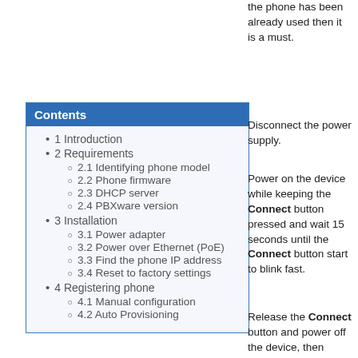the phone has been already used then it is a must.
Contents
1 Introduction
2 Requirements
2.1 Identifying phone model
2.2 Phone firmware
2.3 DHCP server
2.4 PBXware version
3 Installation
3.1 Power adapter
3.2 Power over Ethernet (PoE)
3.3 Find the phone IP address
3.4 Reset to factory settings
4 Registering phone
4.1 Manual configuration
4.2 Auto Provisioning
Disconnect the power supply.
Power on the device while keeping the Connect button pressed and wait 15 seconds until the Connect button start to blink fast.
Release the Connect button and power off the device, then